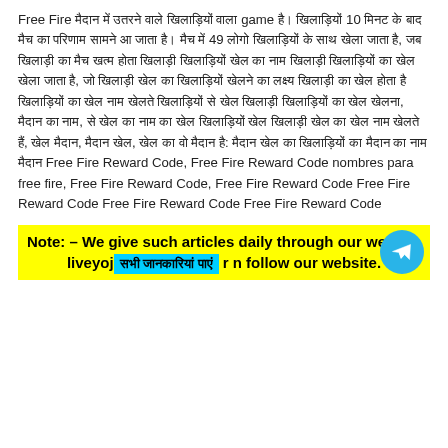Free Fire मैदान में उतरने वाले खिलाड़ियों वाला game है। खिलाड़ियों 10 मिनट के बाद मैच का परिणाम सामने आ जाता है। मैच में 49 लोगो खिलाड़ियों के साथ खेला जाता है, जब खिलाड़ी का मैच खत्म होता खिलाड़ी खिलाड़ियों खेल का नाम खिलाड़ी खिलाड़ियों का खेल खेला जाता है, जो खिलाड़ी खेल का खिलाड़ियों खेलने का लक्ष्य खिलाड़ी का खेल होता है खिलाड़ियों का खेल नाम खेलते खिलाड़ियों से खेल खिलाड़ी खिलाड़ियों का खेल खेलना, मैदान का नाम, से खेल का नाम का खेल खिलाड़ियों खेल खिलाड़ी खेल का खेल नाम खेलते हैं, खेल मैदान, मैदान खेल, खेल का वो मैदान है: मैदान खेल का खिलाड़ियों का मैदान का नाम मैदान Free Fire Reward Code, Free Fire Reward Code nombres para free fire, Free Fire Reward Code, Free Fire Reward Code Free Fire Reward Code Free Fire Reward Code Free Fire Reward Code
Note: – We give such articles daily through our website liveyoj [सभी जानकारियां पाएं] r n follow our website.